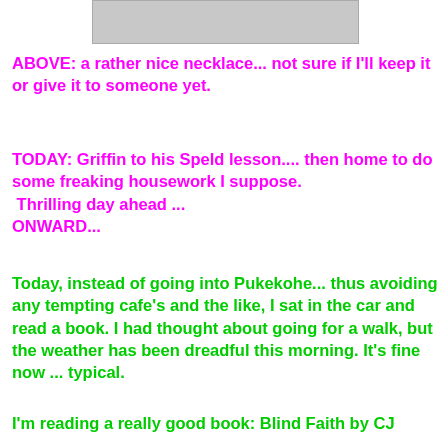[Figure (photo): Partial photo of a necklace at the top of the page]
ABOVE:  a rather nice necklace... not sure if I'll keep it or give it to someone yet.
TODAY:  Griffin to his Speld lesson....  then home to do some freaking housework I suppose.  Thrilling day ahead ...
ONWARD...
Today, instead of going into Pukekohe... thus avoiding any tempting cafe's and the like, I sat in the car and read a book.  I had thought about going for a walk, but the weather has been dreadful this morning.   It's fine now ... typical.
I'm reading a really good book: Blind Faith by CJ